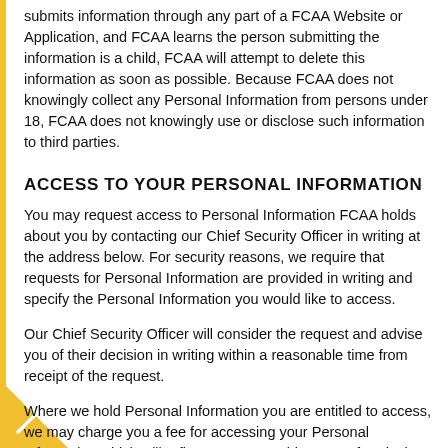submits information through any part of a FCAA Website or Application, and FCAA learns the person submitting the information is a child, FCAA will attempt to delete this information as soon as possible. Because FCAA does not knowingly collect any Personal Information from persons under 18, FCAA does not knowingly use or disclose such information to third parties.
ACCESS TO YOUR PERSONAL INFORMATION
You may request access to Personal Information FCAA holds about you by contacting our Chief Security Officer in writing at the address below. For security reasons, we require that requests for Personal Information are provided in writing and specify the Personal Information you would like to access.
Our Chief Security Officer will consider the request and advise you of their decision in writing within a reasonable time from receipt of the request.
Where we hold Personal Information you are entitled to access, we may charge you a fee for accessing your Personal Information which will reflect our reasonable costs of retrieving and supplying the information to you.